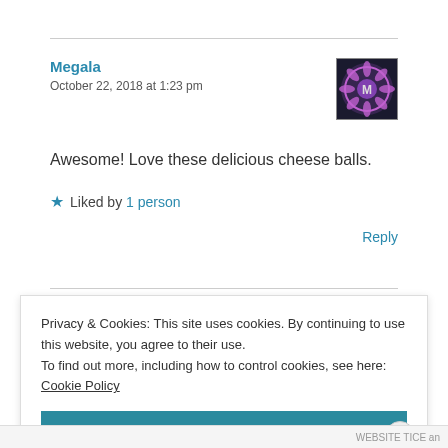Megala
October 22, 2018 at 1:23 pm
Awesome! Love these delicious cheese balls.
Liked by 1 person
Reply
Privacy & Cookies: This site uses cookies. By continuing to use this website, you agree to their use. To find out more, including how to control cookies, see here: Cookie Policy
Close and accept